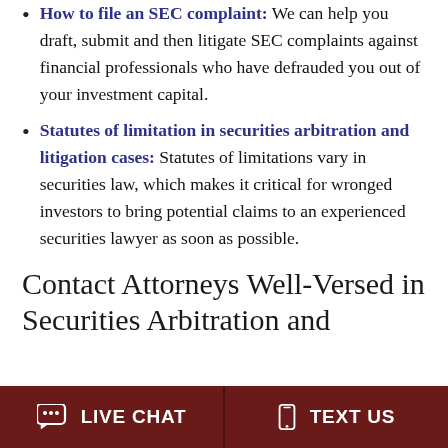How to file an SEC complaint: We can help you draft, submit and then litigate SEC complaints against financial professionals who have defrauded you out of your investment capital.
Statutes of limitation in securities arbitration and litigation cases: Statutes of limitations vary in securities law, which makes it critical for wronged investors to bring potential claims to an experienced securities lawyer as soon as possible.
Contact Attorneys Well-Versed in Securities Arbitration and
LIVE CHAT   TEXT US